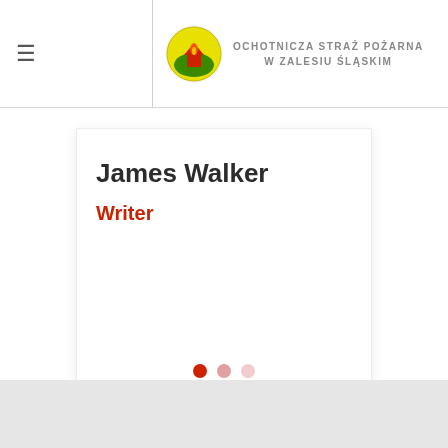☰  OCHOTNICZA STRAŻ POŻARNA W ZALESIU ŚLĄSKIM
James Walker
Writer
[Figure (other): Carousel pagination dots: three circles, first dark red (active), second light red, third very light red/pink]
[Figure (other): Gray footer/map area at bottom of page]